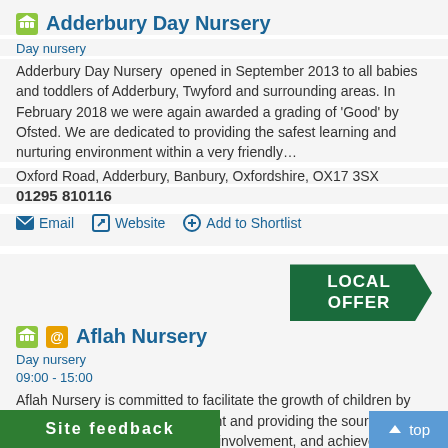Adderbury Day Nursery
Day nursery
Adderbury Day Nursery  opened in September 2013 to all babies and toddlers of Adderbury, Twyford and surrounding areas. In February 2018 we were again awarded a grading of 'Good' by Ofsted. We are dedicated to providing the safest learning and nurturing environment within a very friendly…
Oxford Road, Adderbury, Banbury, Oxfordshire, OX17 3SX
01295 810116
Email  Website  Add to Shortlist
[Figure (other): LOCAL OFFER arrow badge in dark green]
Aflah Nursery
Day nursery
09:00 - 15:00
Aflah Nursery is committed to facilitate the growth of children by providing a balanced environment and providing the sources to invigorate the child's motivation, involvement, and achievement. Aflah Nursery aims to provide a pre-school experience that will …ho will have a keen sense…
Site feedback
↑ top